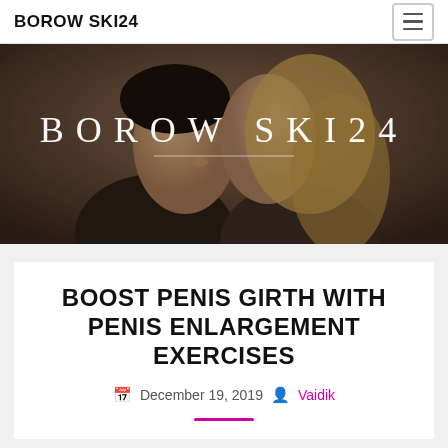BOROW SKI24
[Figure (photo): Hero banner with couple facing each other in romantic pose, overlaid with text BOROW SKI24 in large spaced white letters]
BOOST PENIS GIRTH WITH PENIS ENLARGEMENT EXERCISES
December 19, 2019  Vaidik